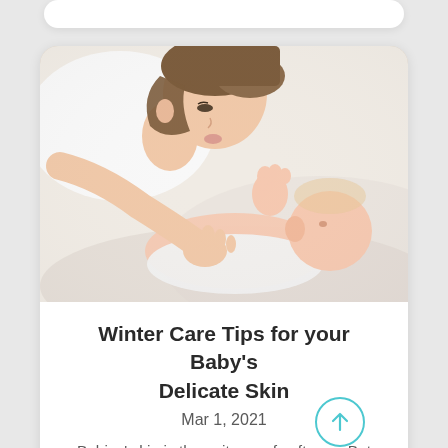[Figure (photo): A mother leaning over and nuzzling/kissing her baby who is lying on white bedding. Both are wearing white. Warm, soft-toned lifestyle photo.]
Winter Care Tips for your Baby's Delicate Skin
Mar 1, 2021
Babies' skin is the epitome of softness. But because babies are so delicate, their skin